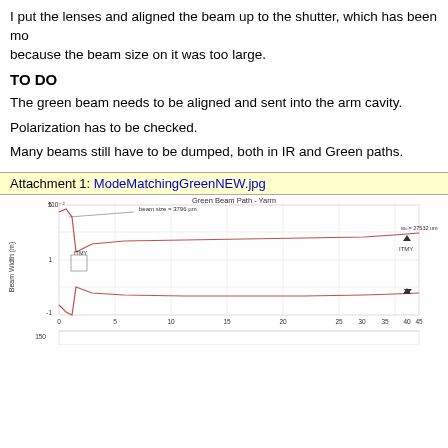I put the lenses and aligned the beam up to the shutter, which has been moved because the beam size on it was too large.
TO DO
The green beam needs to be aligned and sent into the arm cavity.
Polarization has to be checked.
Many beams still have to be dumped, both in IR and Green paths.
Attachment 1: ModeMatchingGreenNEW.jpg
[Figure (continuous-plot): Green Beam Path - Yarm plot showing beam width (m) vs position. Two curves (upper and lower) showing beam propagation. Upper curve reaches w0 = 27532 um at ITMY marker around x=42. Labels include 'beam size = 3796 um' and 'ITMY'. X-axis 0 to 45, Y-axis from negative to ~5e-2. A second partial plot is visible at the bottom.]